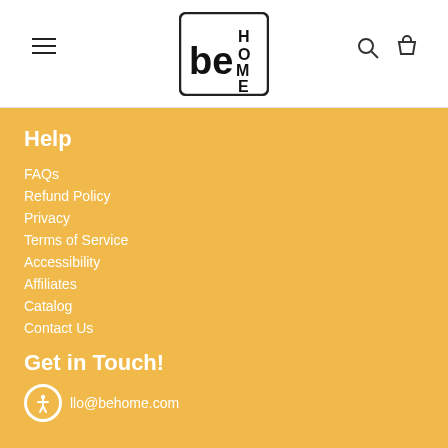[Figure (logo): beHOME logo — black bold 'be' on the left and 'HOME' stacked vertically on the right, inside a rounded square border]
Help
FAQs
Refund Policy
Privacy
Terms of Service
Accessibility
Affiliates
Catalog
Contact Us
Get in Touch!
hello@behome.com